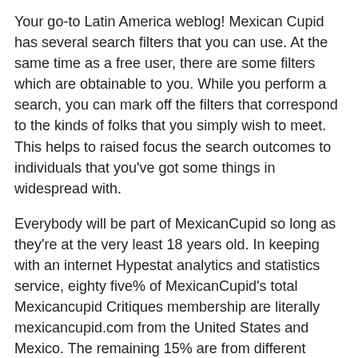Your go-to Latin America weblog! Mexican Cupid has several search filters that you can use. At the same time as a free user, there are some filters which are obtainable to you. While you perform a search, you can mark off the filters that correspond to the kinds of folks that you simply wish to meet. This helps to raised focus the search outcomes to individuals that you've got some things in widespread with.
Everybody will be part of MexicanCupid so long as they're at the very least 18 years old. In keeping with an internet Hypestat analytics and statistics service, eighty five% of MexicanCupid's total Mexicancupid Critiques membership are literally mexicancupid.com from the United States and Mexico. The remaining 15% are from different elements of the world. The gender ratio is 6:1, with extra female members. As for the age, essentially essentially the most energetic members are between 25 to forty five years earlier.
The creating session of utilizing on Mexican on the along the...